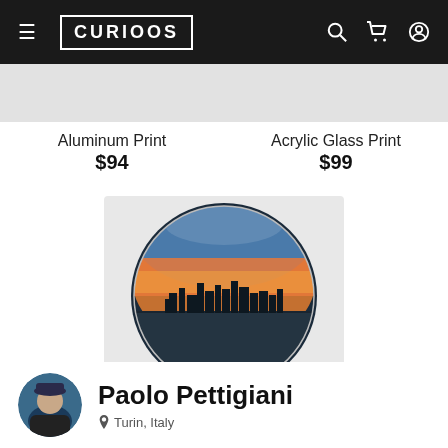[Figure (screenshot): Curiosos e-commerce website header with hamburger menu, logo, search, cart, and profile icons on dark background]
Aluminum Print
$94
Acrylic Glass Print
$99
[Figure (photo): Circular disk print showing city skyline at sunset over water]
Disk
$99
[Figure (photo): Circular avatar photo of Paolo Pettigiani wearing a cap]
Paolo Pettigiani
Turin, Italy